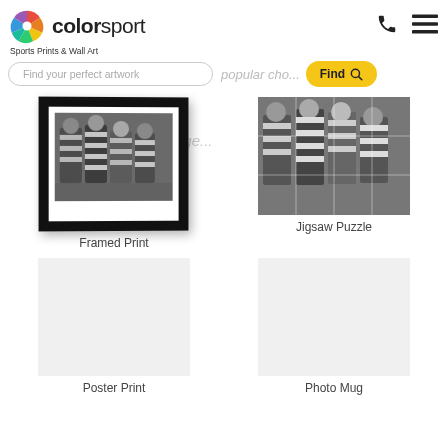[Figure (logo): Colorsport logo with colorful pinwheel icon and text 'colorsport']
Sports Prints & Wall Art
Find your perfect artwork
popular cho... for this image...
[Figure (photo): Framed black and white photo of rugby players in hooped jerseys celebrating]
Framed Print
[Figure (photo): Black and white photo of rugby players in hooped jerseys celebrating, shown as jigsaw puzzle]
Jigsaw Puzzle
Poster Print
Photo Mug